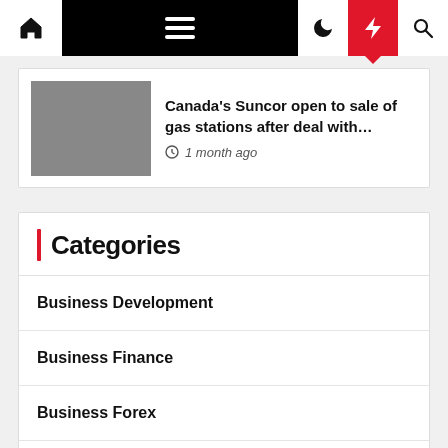Navigation bar with home, menu, moon, lightning, and search icons
Canada's Suncor open to sale of gas stations after deal with… 1 month ago
Categories
Business Development
Business Finance
Business Forex
Business Industry
Business Investment